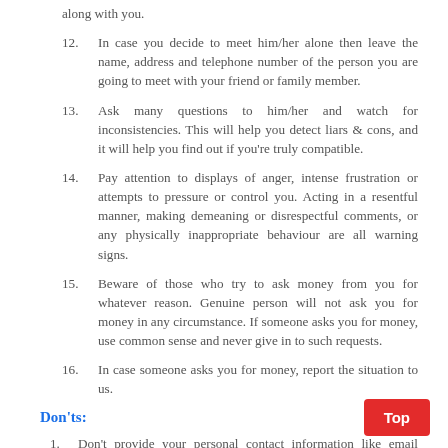along with you.
12. In case you decide to meet him/her alone then leave the name, address and telephone number of the person you are going to meet with your friend or family member.
13. Ask many questions to him/her and watch for inconsistencies. This will help you detect liars & cons, and it will help you find out if you're truly compatible.
14. Pay attention to displays of anger, intense frustration or attempts to pressure or control you. Acting in a resentful manner, making demeaning or disrespectful comments, or any physically inappropriate behaviour are all warning signs.
15. Beware of those who try to ask money from you for whatever reason. Genuine person will not ask you for money in any circumstance. If someone asks you for money, use common sense and never give in to such requests.
16. In case someone asks you for money, report the situation to us.
Don'ts:
1. Don't provide your personal contact information like email address, residential address, telephone numbers, place